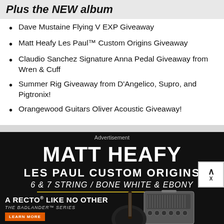Plus the NEW album
Dave Mustaine Flying V EXP Giveaway
Matt Heafy Les Paul™ Custom Origins Giveaway
Claudio Sanchez Signature Anna Pedal Giveaway from Wren & Cuff
Summer Rig Giveaway from D'Angelico, Supro, and Pigtronix!
Orangewood Guitars Oliver Acoustic Giveaway!
[Figure (advertisement): Matt Heafy Les Paul Custom Origins advertisement on black background with guitar and Mesa/Boogie Badlander amp. Text: MATT HEAFY, LES PAUL CUSTOM ORIGINS, 6 & 7 STRING / BONE WHITE & EBONY, A RECTO LIKE NO OTHER, THE BADLANDER SERIES, LEARN MORE, MESA/BOOGIE logo]